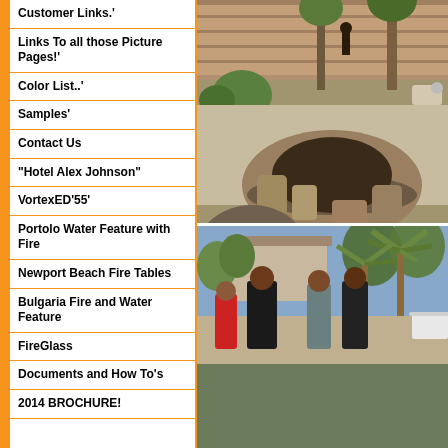Customer Links.'
Links To all those Picture Pages!'
Color List..'
Samples'
Contact Us
"Hotel Alex Johnson"
VortexED'55'
Portolo Water Feature with Fire
Newport Beach Fire Tables
Bulgaria Fire and Water Feature
FireGlass
Documents and How To's
2014 BROCHURE!
[Figure (photo): Outdoor backyard fire pit with stone surround, palm trees in background, person standing near wall]
[Figure (photo): Group of people standing in backyard patio area with palm trees and outdoor furniture]